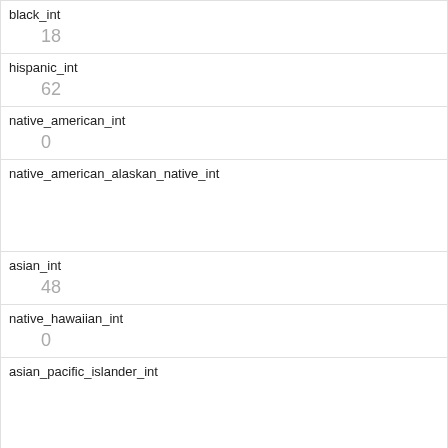| Field | Value |
| --- | --- |
| black_int | 18 |
| hispanic_int | 62 |
| native_american_int | 0 |
| native_american_alaskan_native_int |  |
| asian_int | 48 |
| native_hawaiian_int | 0 |
| asian_pacific_islander_int |  |
| native_hawaiian_pacific_islander_int |  |
| pacific_islander_int |  |
| multiracial_int | 2 |
| unknown_race_int |  |